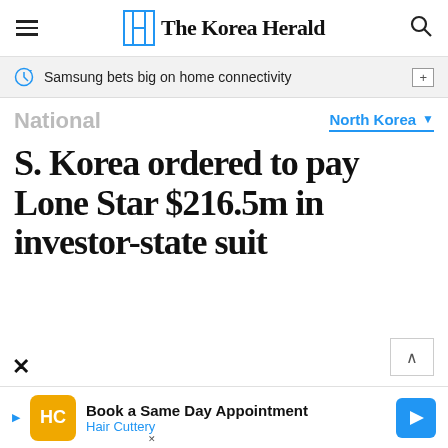The Korea Herald
Samsung bets big on home connectivity
National
North Korea
S. Korea ordered to pay Lone Star $216.5m in investor-state suit
Book a Same Day Appointment Hair Cuttery